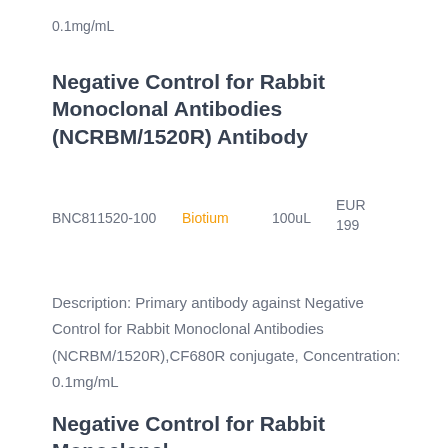0.1mg/mL
Negative Control for Rabbit Monoclonal Antibodies (NCRBM/1520R) Antibody
BNC811520-100   Biotium   100uL   EUR 199
Description: Primary antibody against Negative Control for Rabbit Monoclonal Antibodies (NCRBM/1520R),CF680R conjugate, Concentration: 0.1mg/mL
Negative Control for Rabbit Monoclonal